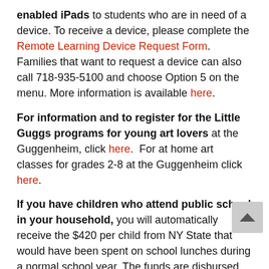enabled iPads to students who are in need of a device. To receive a device, please complete the Remote Learning Device Request Form. Families that want to request a device can also call 718-935-5100 and choose Option 5 on the menu. More information is available here.
For information and to register for the Little Guggs programs for young art lovers at the Guggenheim, click here. For at home art classes for grades 2-8 at the Guggenheim click here.
If you have children who attend public school in your household, you will automatically receive the $420 per child from NY State that would have been spent on school lunches during a normal school year. The funds are disbursed as follows:
If you are on SNAP and cash assistance: You should